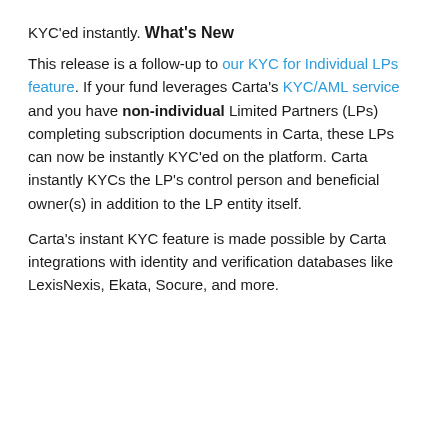KYC'ed instantly.
What's New
This release is a follow-up to our KYC for Individual LPs feature. If your fund leverages Carta's KYC/AML service and you have non-individual Limited Partners (LPs) completing subscription documents in Carta, these LPs can now be instantly KYC'ed on the platform. Carta instantly KYCs the LP's control person and beneficial owner(s) in addition to the LP entity itself.
Carta's instant KYC feature is made possible by Carta integrations with identity and verification databases like LexisNexis, Ekata, Socure, and more.